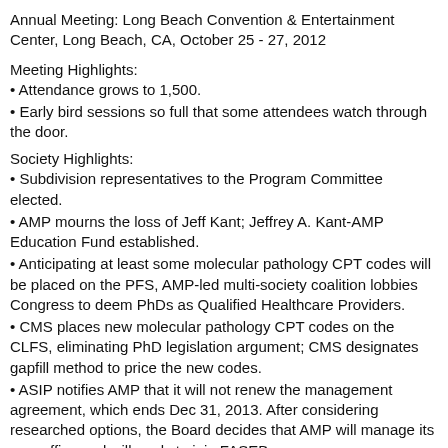Annual Meeting: Long Beach Convention & Entertainment Center, Long Beach, CA, October 25 - 27, 2012
Meeting Highlights:
Attendance grows to 1,500.
Early bird sessions so full that some attendees watch through the door.
Society Highlights:
Subdivision representatives to the Program Committee elected.
AMP mourns the loss of Jeff Kant; Jeffrey A. Kant-AMP Education Fund established.
Anticipating at least some molecular pathology CPT codes will be placed on the PFS, AMP-led multi-society coalition lobbies Congress to deem PhDs as Qualified Healthcare Providers.
CMS places new molecular pathology CPT codes on the CLFS, eliminating PhD legislation argument; CMS designates gapfill method to price the new codes.
ASIP notifies AMP that it will not renew the management agreement, which ends Dec 31, 2013. After considering researched options, the Board decides that AMP will manage its own office and will apply to join FASEB.
Formal annual Board orientation & training begun.